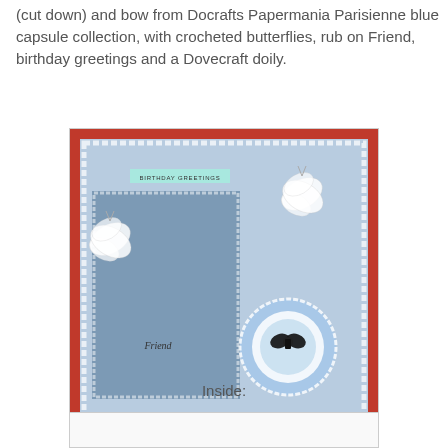(cut down) and bow from Docrafts Papermania Parisienne blue capsule collection, with crocheted butterflies, rub on Friend, birthday greetings and a Dovecraft doily.
[Figure (photo): A handmade birthday card with a blue background, white lace doily border, two crocheted white butterflies, a 'BIRTHDAY GREETINGS' banner, 'Friend' rub-on text, and a circular blue doily with a dark bow in the lower right.]
Inside:
[Figure (photo): Partial view of the inside of the card, mostly white/blank area shown at the bottom of the page.]